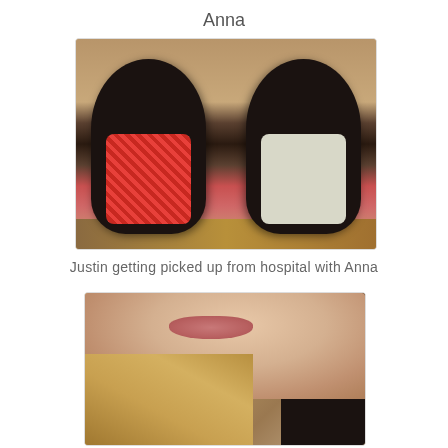Anna
[Figure (photo): Two infants in black car seats side by side on a wooden floor. The baby on the left is wrapped in a red floral blanket and the baby on the right is wrapped in a white/grey blanket.]
Justin getting picked up from hospital with Anna
[Figure (photo): Close-up selfie photo of a woman with blonde hair, showing her face from the chin up, wearing what appears to be a fur or fuzzy jacket.]